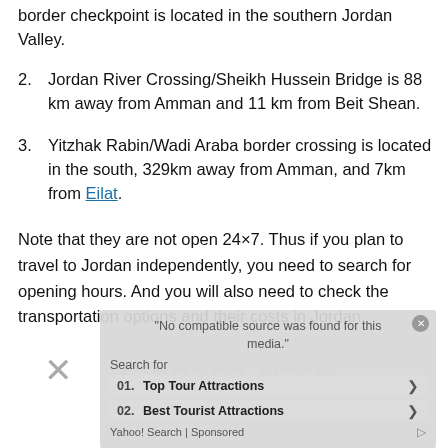border checkpoint is located in the southern Jordan Valley.
2. Jordan River Crossing/Sheikh Hussein Bridge is 88 km away from Amman and 11 km from Beit Shean.
3. Yitzhak Rabin/Wadi Araba border crossing is located in the south, 329km away from Amman, and 7km from Eilat.
Note that they are not open 24×7. Thus if you plan to travel to Jordan independently, you need to search for opening hours. And you will also need to check the transportation options and their costs in Jordan.
[Figure (screenshot): Ad overlay showing 'No compatible source was found for this media.' with a Yahoo Search sponsored results widget listing 'Top Tour Attractions' and 'Best Tourist Attractions', and background watermark text 'Raanana Park']